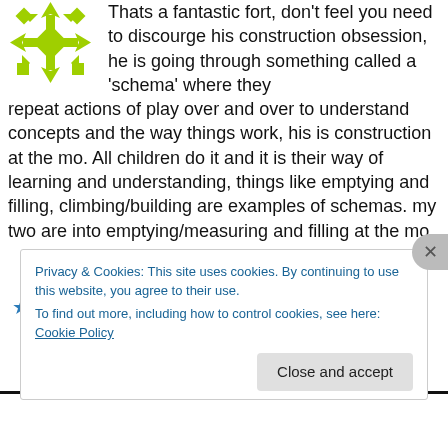[Figure (logo): Green snowflake/cross decorative logo]
Thats a fantastic fort, don't feel you need to discourge his construction obsession, he is going through something called a 'schema' where they repeat actions of play over and over to understand concepts and the way things work, his is construction at the mo. All children do it and it is their way of learning and understanding, things like emptying and filling, climbing/building are examples of schemas. my two are into emptying/measuring and filling at the mo,
★ Like
Privacy & Cookies: This site uses cookies. By continuing to use this website, you agree to their use.
To find out more, including how to control cookies, see here: Cookie Policy
Close and accept